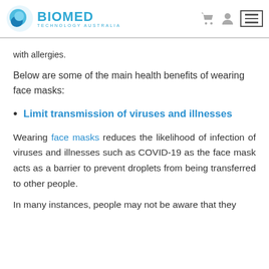BIOMED TECHNOLOGY AUSTRALIA
with allergies.
Below are some of the main health benefits of wearing face masks:
Limit transmission of viruses and illnesses
Wearing face masks reduces the likelihood of infection of viruses and illnesses such as COVID-19 as the face mask acts as a barrier to prevent droplets from being transferred to other people.
In many instances, people may not be aware that they